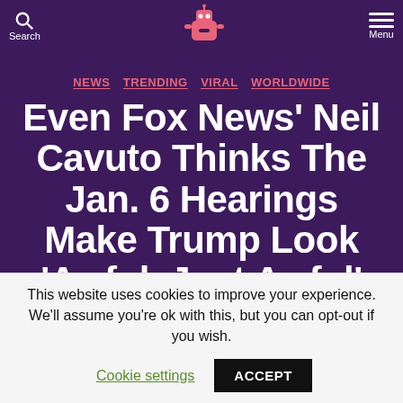Search | GoneTrending Logo | Menu
NEWS  TRENDING  VIRAL  WORLDWIDE
Even Fox News’ Neil Cavuto Thinks The Jan. 6 Hearings Make Trump Look ‘Awful, Just Awful’
By GoneTrending  June 22, 2022
This website uses cookies to improve your experience. We'll assume you're ok with this, but you can opt-out if you wish. Cookie settings  ACCEPT